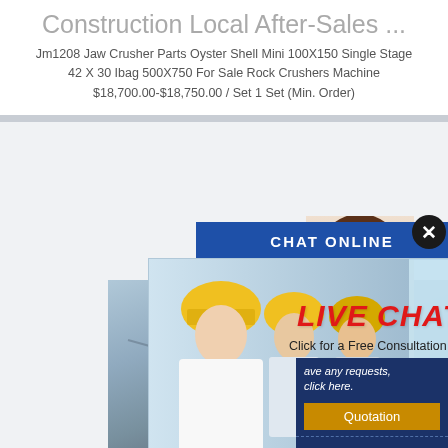Construction Local After-Sales ...
Jm1208 Jaw Crusher Parts Oyster Shell Mini 100X150 Single Stage 42 X 30 Ibag 500X750 For Sale Rock Crushers Machine $18,700.00-$18,750.00 / Set 1 Set (Min. Order)
[Figure (screenshot): Live chat popup overlay showing workers in yellow hard hats, LIVE CHAT text in red, Chat now and Chat later buttons, and a customer service representative with headset. Background shows construction site machinery.]